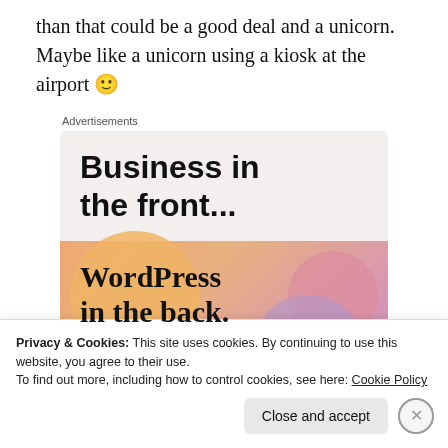than that could be a good deal and a unicorn. Maybe like a unicorn using a kiosk at the airport 🙂
[Figure (other): Advertisement block with two parts: top section with light gray background showing 'Business in the front...' in bold black sans-serif, and bottom section with colorful gradient (orange/pink) background showing 'WordPress in the back.' in bold serif font with decorative blobs]
Privacy & Cookies: This site uses cookies. By continuing to use this website, you agree to their use.
To find out more, including how to control cookies, see here: Cookie Policy
Close and accept